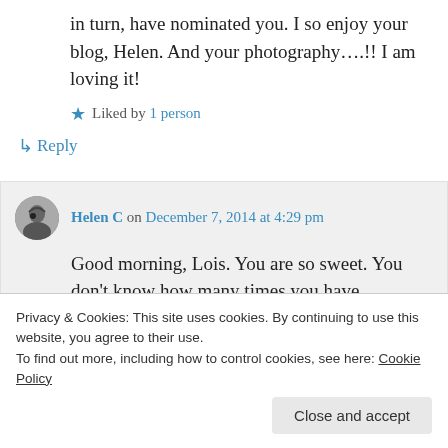in turn, have nominated you. I so enjoy your blog, Helen. And your photography….!! I am loving it!
Liked by 1 person
↳ Reply
Helen C on December 7, 2014 at 4:29 pm
Good morning, Lois. You are so sweet. You don't know how many times you have
Privacy & Cookies: This site uses cookies. By continuing to use this website, you agree to their use.
To find out more, including how to control cookies, see here: Cookie Policy